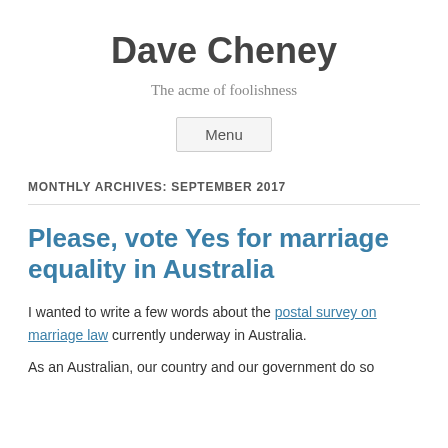Dave Cheney
The acme of foolishness
Menu
MONTHLY ARCHIVES: SEPTEMBER 2017
Please, vote Yes for marriage equality in Australia
I wanted to write a few words about the postal survey on marriage law currently underway in Australia.
As an Australian, our country and our government do so